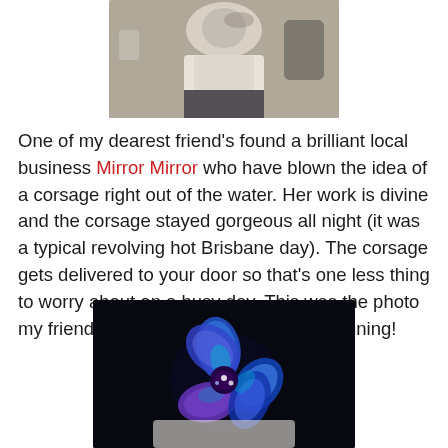[Figure (photo): Photo of a person holding up their corsage, wearing a white top and dark skirt, taken in a mirror or from above]
One of my dearest friend's found a brilliant local business Mirror Mirror who have blown the idea of a corsage right out of the water.  Her work is divine and the corsage stayed gorgeous all night (it was a typical revolving hot Brisbane day).  The corsage gets delivered to your door so that's one less thing to worry about on a busy day.  This was the photo my friend took, the colours are really stunning!
[Figure (photo): Close-up photo of a stunning blue and purple floral corsage with jewel embellishments, against a dark background]